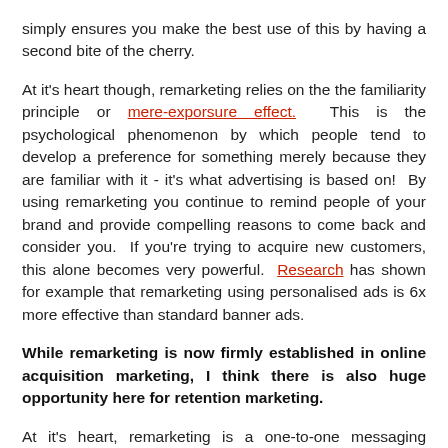simply ensures you make the best use of this by having a second bite of the cherry.
At it's heart though, remarketing relies on the the familiarity principle or mere-exporsure effect. This is the psychological phenomenon by which people tend to develop a preference for something merely because they are familiar with it - it's what advertising is based on! By using remarketing you continue to remind people of your brand and provide compelling reasons to come back and consider you. If you're trying to acquire new customers, this alone becomes very powerful. Research has shown for example that remarketing using personalised ads is 6x more effective than standard banner ads.
While remarketing is now firmly established in online acquisition marketing, I think there is also huge opportunity here for retention marketing.
At it's heart, remarketing is a one-to-one messaging solution based on customer behaviours and it's this that really makes it powerful for loyalty marketing. Consumers now actively interact with brands via their online websites, making